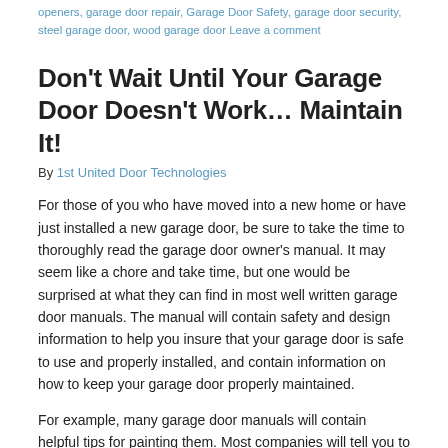openers, garage door repair, Garage Door Safety, garage door security, steel garage door, wood garage door Leave a comment
Don't Wait Until Your Garage Door Doesn't Work… Maintain It!
By 1st United Door Technologies
For those of you who have moved into a new home or have just installed a new garage door, be sure to take the time to thoroughly read the garage door owner's manual. It may seem like a chore and take time, but one would be surprised at what they can find in most well written garage door manuals. The manual will contain safety and design information to help you insure that your garage door is safe to use and properly installed, and contain information on how to keep your garage door properly maintained.
For example, many garage door manuals will contain helpful tips for painting them. Most companies will tell you to pain BOTH the inside and outside of the garage door to keep everything even, and to never remove any parts of the garage door when painting. If you want to make sure that your garage door is completely covered in a fresh coat of paint, you need to call in a professional to dismantle it so that you can finish the paint job, and then have